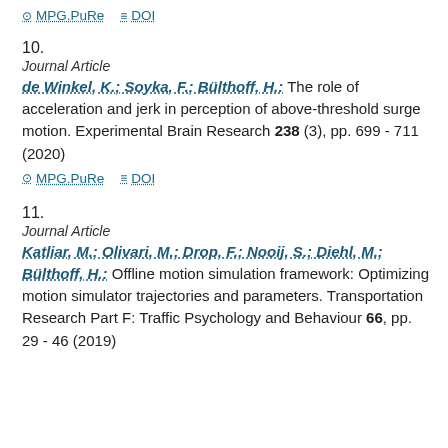MPG.PuRe   DOI
10.
Journal Article
de Winkel, K.; Soyka, F.; Bülthoff, H.: The role of acceleration and jerk in perception of above-threshold surge motion. Experimental Brain Research 238 (3), pp. 699 - 711 (2020)
MPG.PuRe   DOI
11.
Journal Article
Katliar, M.; Olivari, M.; Drop, F.; Nooij, S.; Diehl, M.; Bülthoff, H.: Offline motion simulation framework: Optimizing motion simulator trajectories and parameters. Transportation Research Part F: Traffic Psychology and Behaviour 66, pp. 29 - 46 (2019)